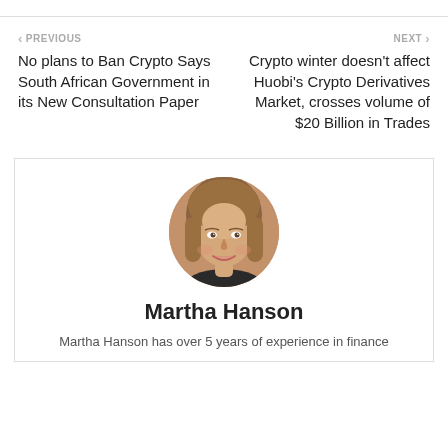PREVIOUS
No plans to Ban Crypto Says South African Government in its New Consultation Paper
NEXT
Crypto winter doesn't affect Huobi's Crypto Derivatives Market, crosses volume of $20 Billion in Trades
[Figure (photo): Circular portrait photo of Martha Hanson, a woman with shoulder-length blonde hair, smiling, wearing a dark top]
Martha Hanson
Martha Hanson has over 5 years of experience in finance